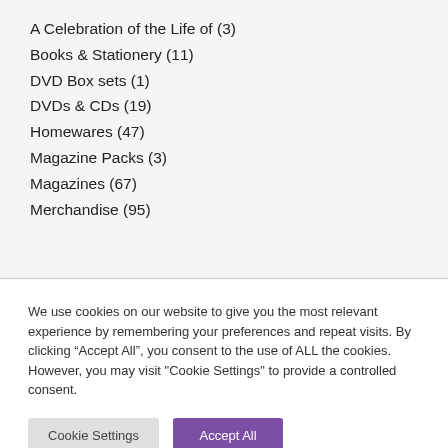A Celebration of the Life of (3)
Books & Stationery (11)
DVD Box sets (1)
DVDs & CDs (19)
Homewares (47)
Magazine Packs (3)
Magazines (67)
Merchandise (95)
We use cookies on our website to give you the most relevant experience by remembering your preferences and repeat visits. By clicking “Accept All”, you consent to the use of ALL the cookies. However, you may visit "Cookie Settings" to provide a controlled consent.